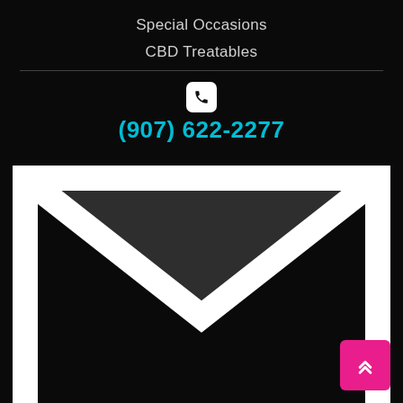Special Occasions
CBD Treatables
(907) 622-2277
info@akdogtreats.com
[Figure (illustration): Social media icons: Facebook (blue circle with f), Instagram (gradient circle with camera icon), Twitter (cyan circle with bird icon)]
Designed by Alaska Search Marketing, LLC
Privacy Policy